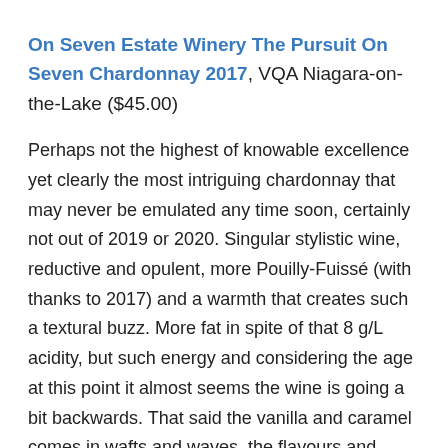On Seven Estate Winery The Pursuit On Seven Chardonnay 2017, VQA Niagara-on-the-Lake ($45.00)
Perhaps not the highest of knowable excellence yet clearly the most intriguing chardonnay that may never be emulated any time soon, certainly not out of 2019 or 2020. Singular stylistic wine, reductive and opulent, more Pouilly-Fuissé (with thanks to 2017) and a warmth that creates such a textural buzz. More fat in spite of that 8 g/L acidity, but such energy and considering the age at this point it almost seems the wine is going a bit backwards. That said the vanilla and caramel comes in wafts and waves, the flavours and textures in layers, long, lingering, forever. Only 108 cases made.  Last tasted July 2021
The newest Peter Gamble consulting joint is this from